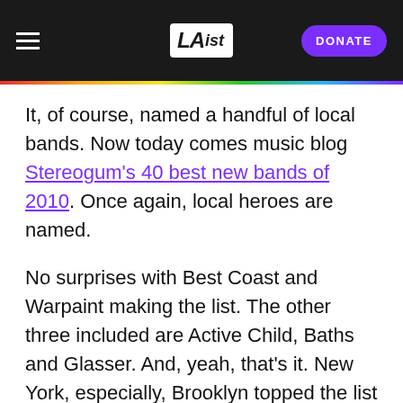LAist — DONATE
It, of course, named a handful of local bands. Now today comes music blog Stereogum's 40 best new bands of 2010. Once again, local heroes are named.
No surprises with Best Coast and Warpaint making the list. The other three included are Active Child, Baths and Glasser. And, yeah, that's it. New York, especially, Brooklyn topped the list with most bands represented.
The great thing about Stereogum's list are the embedded songs, but it gets better. Here's the tip: if you want to listen to all 40 without having to hit